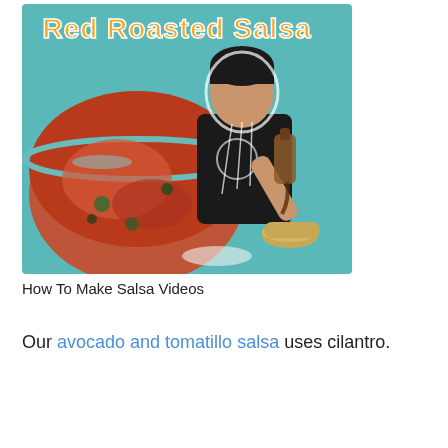[Figure (photo): Thumbnail image titled 'Red Roasted Salsa' showing a teenage boy in a black t-shirt pouring liquid from a bottle into a small clay bowl, next to a large glass bowl of red roasted salsa, on a teal background.]
How To Make Salsa Videos
Our avocado and tomatillo salsa uses cilantro.